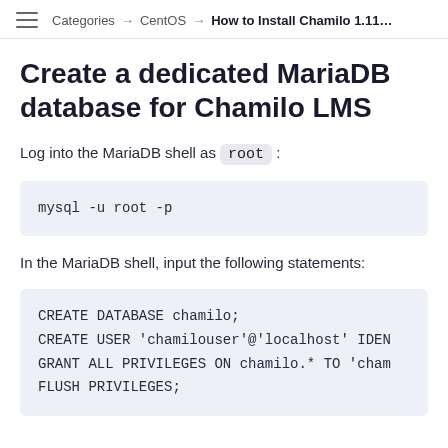Categories → CentOS → How to Install Chamilo 1.11...
Create a dedicated MariaDB database for Chamilo LMS
Log into the MariaDB shell as root:
mysql -u root -p
In the MariaDB shell, input the following statements:
CREATE DATABASE chamilo;
CREATE USER 'chamilouser'@'localhost' IDENT
GRANT ALL PRIVILEGES ON chamilo.* TO 'chami
FLUSH PRIVILEGES;